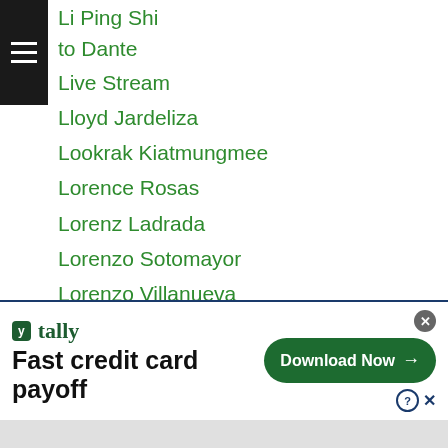Li Ping Shi
to Dante
Live Stream
Lloyd Jardeliza
Lookrak Kiatmungmee
Lorence Rosas
Lorenz Ladrada
Lorenzo Sotomayor
Lorenzo Villanueva
Lu Bin
Lucky Tor Buamas
Lunjun Zhao
Macau
Madiyar Ashkeyev
Magomed Abdusalamov
nedrasul Majidov
[Figure (screenshot): Advertisement banner for Tally app with text 'Fast credit card payoff' and 'Download Now' button]